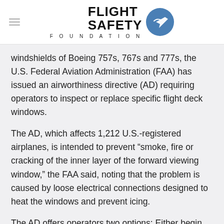FLIGHT SAFETY FOUNDATION
windshields of Boeing 757s, 767s and 777s, the U.S. Federal Aviation Administration (FAA) has issued an airworthiness directive (AD) requiring operators to inspect or replace specific flight deck windows.
The AD, which affects 1,212 U.S.-registered airplanes, is intended to prevent “smoke, fire or cracking of the inner layer of the forward viewing window,” the FAA said, noting that the problem is caused by loose electrical connections designed to heat the windows and prevent icing.
The AD offers operators two options: Either begin inspections of each of two window designs within 500 hours and continue them at specified intervals, or install a